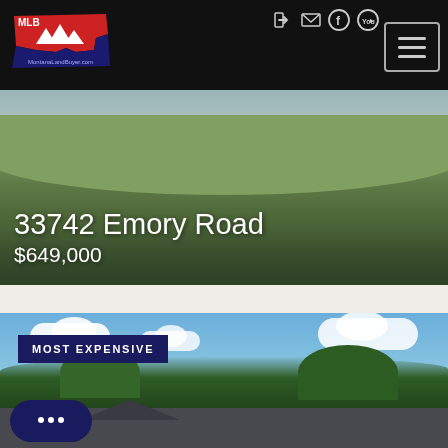[Figure (logo): MontanaLandBuyer.com logo — Montana state shape in red/blue with white mountains and MLB text]
[Figure (photo): Real estate listing header photo showing green grassy field/hillside with sky]
33742 Emory Road
$649,000
[Figure (photo): Second property listing photo showing blue sky with clouds, trees, and a house rooftop with a 'MOST EXPENSIVE' badge overlay]